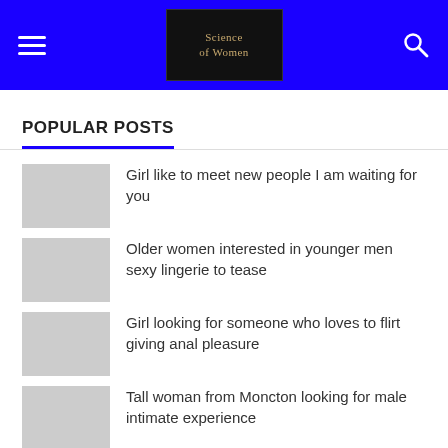Science of Women
POPULAR POSTS
Girl like to meet new people I am waiting for you
Older women interested in younger men sexy lingerie to tease
Girl looking for someone who loves to flirt giving anal pleasure
Tall woman from Moncton looking for male intimate experience
Cute girl seeks friendship love role play